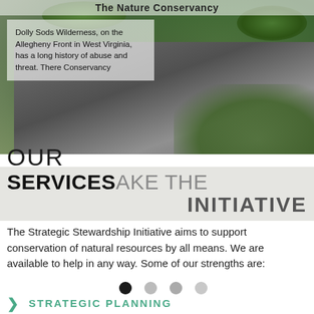The Nature Conservancy
[Figure (photo): Rocky mossy landscape at Dolly Sods Wilderness on the Allegheny Front in West Virginia, with green moss-covered rocks and boulders.]
Dolly Sods Wilderness, on the Allegheny Front in West Virginia, has a long history of abuse and threat. The Nature Conservancy
OUR SERVICES MAKE THE INITIATIVE
The Strategic Stewardship Initiative aims to support conservation of natural resources by all means. We are available to help in any way. Some of our strengths are:
STRATEGIC PLANNING